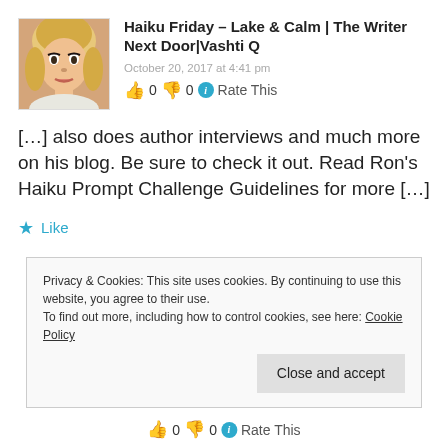Haiku Friday – Lake & Calm | The Writer Next Door|Vashti Q
October 20, 2017 at 4:41 pm
👍 0 👎 0 ℹ Rate This
[…] also does author interviews and much more on his blog. Be sure to check it out. Read Ron's Haiku Prompt Challenge Guidelines for more […]
★ Like
Privacy & Cookies: This site uses cookies. By continuing to use this website, you agree to their use.
To find out more, including how to control cookies, see here: Cookie Policy
Close and accept
👍 0 👎 0 ℹ Rate This